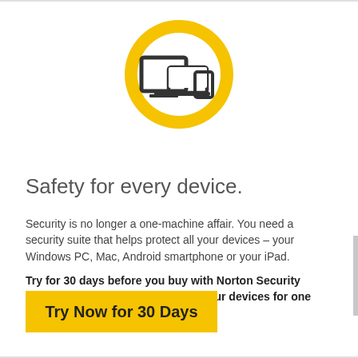[Figure (illustration): Norton Security logo: a yellow/gold circle ring with icons of a monitor, laptop, and mobile phone in dark gray inside it]
Safety for every device.
Security is no longer a one-machine affair. You need a security suite that helps protect all your devices – your Windows PC, Mac, Android smartphone or your iPad.
Try for 30 days before you buy with Norton Security Deluxe – helps protect up to 5 of your devices for one low price.
Try Now for 30 Days